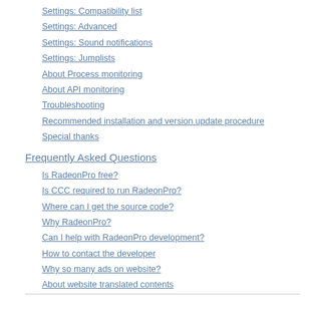Settings: Compatibility list
Settings: Advanced
Settings: Sound notifications
Settings: Jumplists
About Process monitoring
About API monitoring
Troubleshooting
Recommended installation and version update procedure
Special thanks
Frequently Asked Questions
Is RadeonPro free?
Is CCC required to run RadeonPro?
Where can I get the source code?
Why RadeonPro?
Can I help with RadeonPro development?
How to contact the developer
Why so many ads on website?
About website translated contents